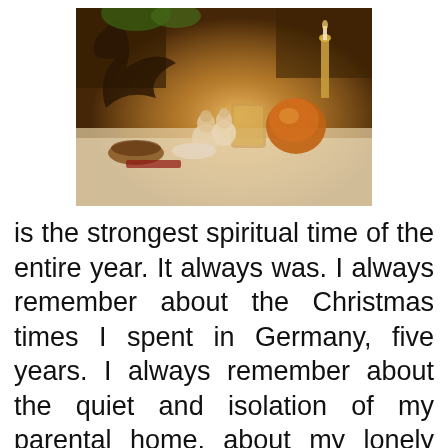[Figure (photo): A warm, candlelit still life scene featuring small angel figurines, a candle holder, a gourd, and various decorative items arranged on a white cloth surface. The image has a golden, festive Christmas atmosphere.]
is the strongest spiritual time of the entire year. It always was. I always remember about the Christmas times I spent in Germany, five years. I always remember about the quiet and isolation of my parental home, about my lonely and passionate mother. About the years we could be together, but we didn't. About the years we could have been...